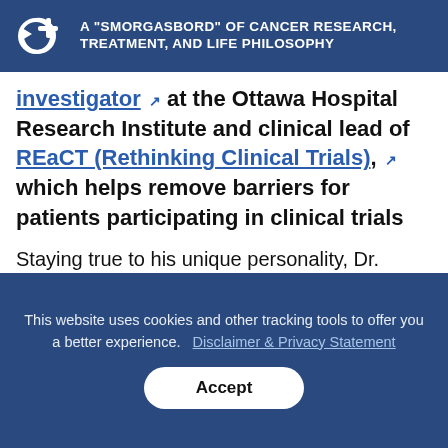A "SMORGASBORD" OF CANCER RESEARCH, TREATMENT, AND LIFE PHILOSOPHY
investigator at the Ottawa Hospital Research Institute and clinical lead of REaCT (Rethinking Clinical Trials), which helps remove barriers for patients participating in clinical trials
Staying true to his unique personality, Dr. Clemons did not disappoint when he competed onstage in front of a sold-out crowd of 800+ to win the coveted Medicine
This website uses cookies and other tracking tools to offer you a better experience. Disclaimer & Privacy Statement